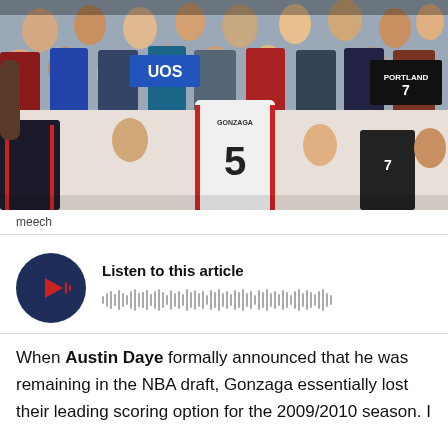[Figure (photo): Basketball players and a crowd of fans in an arena. A player wearing jersey number 5 in a white uniform faces the crowd, while another player in a dark uniform is visible on the left. The crowd fills the background.]
meech
[Figure (other): Audio player widget with a dark blue circular play button showing a red play icon with sound wave lines, alongside the text 'Listen to this article' and an audio waveform visualization.]
When Austin Daye formally announced that he was remaining in the NBA draft, Gonzaga essentially lost their leading scoring option for the 2009/2010 season. I